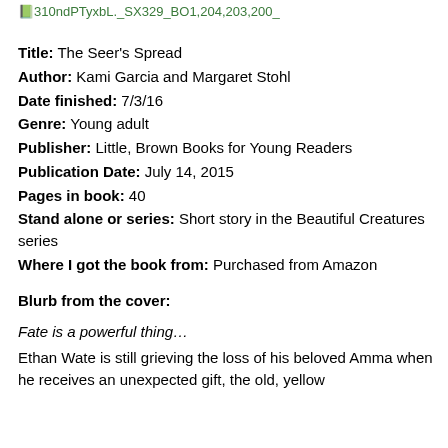[Figure (other): Small green book cover thumbnail image with filename text]
Title: The Seer's Spread
Author: Kami Garcia and Margaret Stohl
Date finished: 7/3/16
Genre: Young adult
Publisher: Little, Brown Books for Young Readers
Publication Date: July 14, 2015
Pages in book: 40
Stand alone or series: Short story in the Beautiful Creatures series
Where I got the book from: Purchased from Amazon
Blurb from the cover:
Fate is a powerful thing…
Ethan Wate is still grieving the loss of his beloved Amma when he receives an unexpected gift, the old, yellow